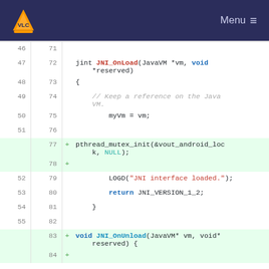VLC Media Player — Menu
[Figure (screenshot): Code diff view showing C/JNI source code lines 46-84, with added lines (77, 78, 83, 84) highlighted in green. Code includes JNI_OnLoad and JNI_OnUnload functions with pthread_mutex_init call added.]